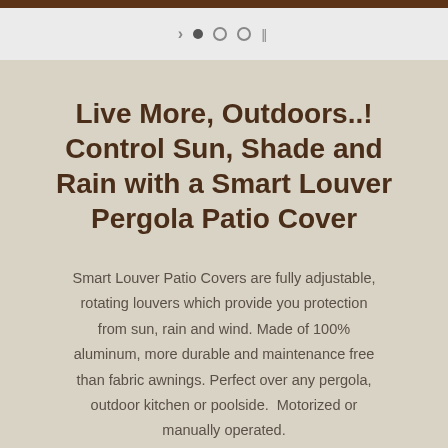Live More, Outdoors..! Control Sun, Shade and Rain with a Smart Louver Pergola Patio Cover
Smart Louver Patio Covers are fully adjustable, rotating louvers which provide you protection from sun, rain and wind. Made of 100% aluminum, more durable and maintenance free than fabric awnings. Perfect over any pergola, outdoor kitchen or poolside. Motorized or manually operated.
Download Smart Louver Patio Cover Brochure